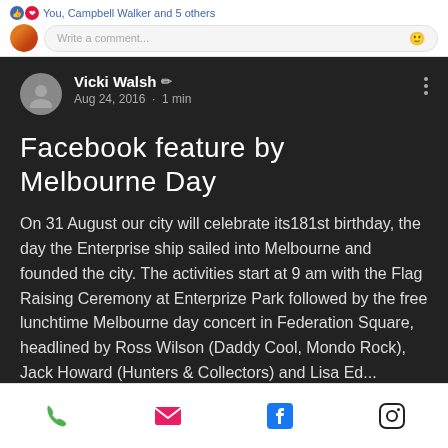You, Campbell Walker and 5 others
[Figure (screenshot): Facebook comment input box with small profile avatar photo]
Vicki Walsh
Aug 24, 2016 · 1 min
Facebook feature by Melbourne Day
On 31 August our city will celebrate its181st birthday, the day the Enterprise ship sailed into Melbourne and founded the city. The activities start at 9 am with the Flag Raising Ceremony at Enterprize Park followed by the free lunchtime Melbourne day concert in Federation Square, headlined by Ross Wilson (Daddy Cool, Mondo Rock), Jack Howard (Hunters & Collectors) and Lisa...
[Figure (screenshot): Mobile bottom navigation bar with phone, email, Facebook, and Instagram icons]